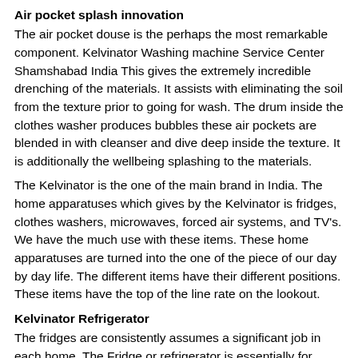Air pocket splash innovation
The air pocket douse is the perhaps the most remarkable component. Kelvinator Washing machine Service Center Shamshabad India This gives the extremely incredible drenching of the materials. It assists with eliminating the soil from the texture prior to going for wash. The drum inside the clothes washer produces bubbles these air pockets are blended in with cleanser and dive deep inside the texture. It is additionally the wellbeing splashing to the materials.
The Kelvinator is the one of the main brand in India. The home apparatuses which gives by the Kelvinator is fridges, clothes washers, microwaves, forced air systems, and TV's. We have the much use with these items. These home apparatuses are turned into the one of the piece of our day by day life. The different items have their different positions. These items have the top of the line rate on the lookout.
Kelvinator Refrigerator
The fridges are consistently assumes a significant job in each home. The Fridge or refrigerator is essentially for